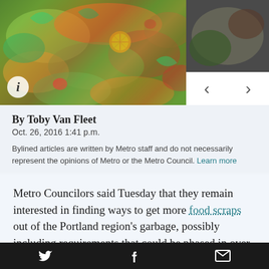[Figure (photo): Pile of food scraps and compostable waste including vegetable peels, citrus rinds, and other organic matter in various colors]
By Toby Van Fleet
Oct. 26, 2016 1:41 p.m.
Bylined articles are written by Metro staff and do not necessarily represent the opinions of Metro or the Metro Council. Learn more
Metro Councilors said Tuesday that they remain interested in finding ways to get more food scraps out of the Portland region's garbage, possibly including requirements that could be phased in over time.
At a work session, councilors said they want to know
Twitter Facebook Email